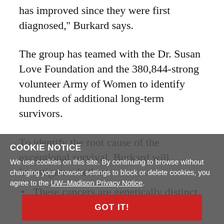has improved since they were first diagnosed,'' Burkard says.
The group has teamed with the Dr. Susan Love Foundation and the 380,844-strong volunteer Army of Women to identify hundreds of additional long-term survivors.
To identify the root cause of the exceptional survival, Burkard will investigate whether:
These cancers are genetically distinct from others;
The immune system of these survivors is different;
Or the treatments or behaviors of these individuals are distinctive.
COOKIE NOTICE
We use cookies on this site. By continuing to browse without changing your browser settings to block or delete cookies, you agree to the UW–Madison Privacy Notice.